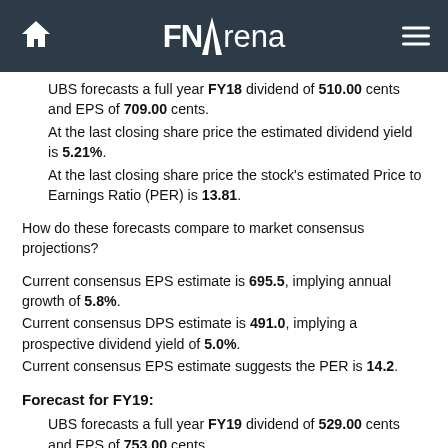FNArena
UBS forecasts a full year FY18 dividend of 510.00 cents and EPS of 709.00 cents. At the last closing share price the estimated dividend yield is 5.21%. At the last closing share price the stock's estimated Price to Earnings Ratio (PER) is 13.81.
How do these forecasts compare to market consensus projections?
Current consensus EPS estimate is 695.5, implying annual growth of 5.8%. Current consensus DPS estimate is 491.0, implying a prospective dividend yield of 5.0%. Current consensus EPS estimate suggests the PER is 14.2.
Forecast for FY19:
UBS forecasts a full year FY19 dividend of 529.00 cents and EPS of 753.00 cents. At the last closing share price the estimated dividend yield is 5.40%. At the last closing share price the stock's estimated Price to Earnings Ratio (PER) is 13.00.